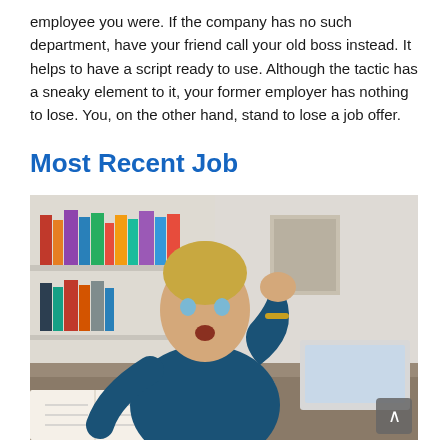employee you were. If the company has no such department, have your friend call your old boss instead. It helps to have a script ready to use. Although the tactic has a sneaky element to it, your former employer has nothing to lose. You, on the other hand, stand to lose a job offer.
Most Recent Job
[Figure (photo): A young woman with blonde hair in a bun, wearing a dark teal/blue sweater, sits at a desk with a laptop and coffee mug, looking stressed with one hand raised to her head. Bookshelves are visible in the background.]